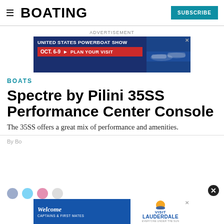BOATING | SUBSCRIBE
[Figure (screenshot): Advertisement banner for United States Powerboat Show, Oct. 6-9, Plan Your Visit, with image of boats]
BOATS
Spectre by Pilini 35SS Performance Center Console
The 35SS offers a great mix of performance and amenities.
By Bo...
[Figure (screenshot): Advertisement: Welcome Captains & First Mates - Visit Lauderdale, Everyone Under the Sun]